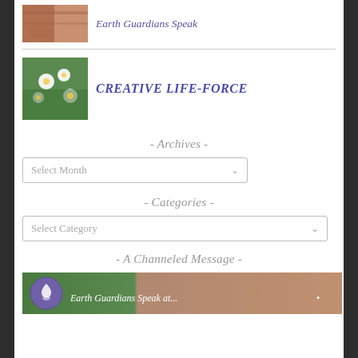[Figure (photo): Small thumbnail of reddish stone/rock texture, linked to 'Earth Guardians Speak']
Earth Guardians Speak
[Figure (photo): Small thumbnail of white flowers on green foliage, linked to 'CREATIVE LIFE-FORCE']
CREATIVE LIFE-FORCE
- Archives -
Select Month
- Categories -
Select Category
- A Channeled Message -
[Figure (screenshot): Banner image showing Earth Guardians Speak logo with purple circle icon and text on green/stone background]